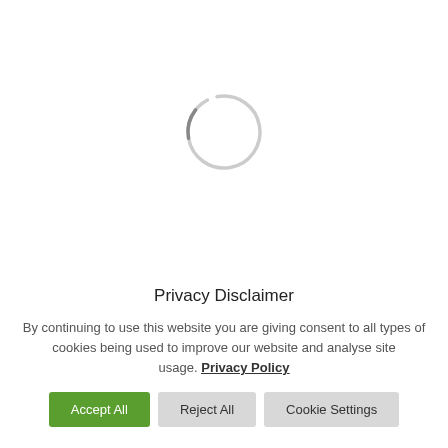[Figure (other): A loading spinner graphic — a thin light-grey circle arc (approximately 3/4 complete ring) indicating a loading state, centered in the upper portion of the page.]
Privacy Disclaimer
By continuing to use this website you are giving consent to all types of cookies being used to improve our website and analyse site usage. Privacy Policy
Accept All   Reject All   Cookie Settings